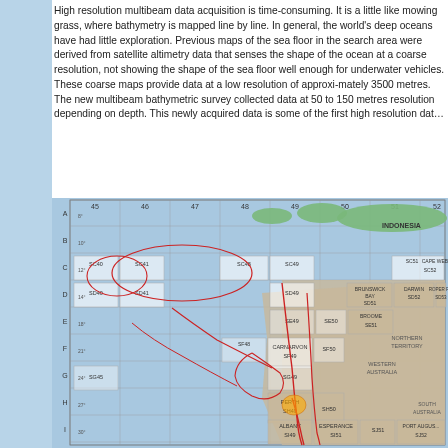High resolution multibeam data acquisition is time-consuming. It is a little like mowing grass, where bathymetry is mapped line by line. In general, the world's deep oceans have had little exploration. Previous maps of the sea floor in the search area were derived from satellite altimetry data that senses the shape of the ocean at a coarse resolution, not showing the shape of the sea floor well enough for underwater vehicles. These coarse maps provide data at a low resolution of approximately 3500 metres. The new multibeam bathymetric survey collected data at 50 to 150 metres resolution depending on depth. This newly acquired data is some of the first high resolution data collected in this area.
[Figure (map): A nautical/bathymetric chart showing the sea floor around Australia and Indonesia, with grid references (letters A-J on vertical axis, numbers 45-53+ on horizontal axis), labeled chart sections (SC40, SC41, SC48, SC49, SC50, SC51, SC52, SD40, SD41, SD49, SD50, SD51, SD52, SE49, SE50, SE51, SE52, SF48, SF49, SF50, SG45, SG49, SH49, SI45, SI49) and red contour lines, showing regions around Carnarvon, Perth, Albany, Esperance, Broome, Darwin, Brunswick Bay. Countries labeled include Indonesia, Western Australia, Northern Territory, South Australia.]